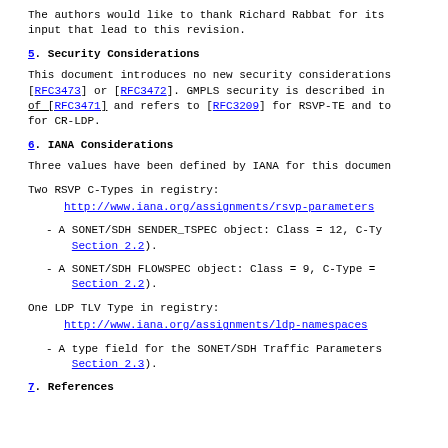The authors would like to thank Richard Rabbat for its input that lead to this revision.
5. Security Considerations
This document introduces no new security considerations [RFC3473] or [RFC3472]. GMPLS security is described in of [RFC3471] and refers to [RFC3209] for RSVP-TE and to for CR-LDP.
6. IANA Considerations
Three values have been defined by IANA for this documen
Two RSVP C-Types in registry:
http://www.iana.org/assignments/rsvp-parameters
- A SONET/SDH SENDER_TSPEC object: Class = 12, C-Ty Section 2.2).
- A SONET/SDH FLOWSPEC object: Class = 9, C-Type = Section 2.2).
One LDP TLV Type in registry:
http://www.iana.org/assignments/ldp-namespaces
- A type field for the SONET/SDH Traffic Parameters Section 2.3).
7. References